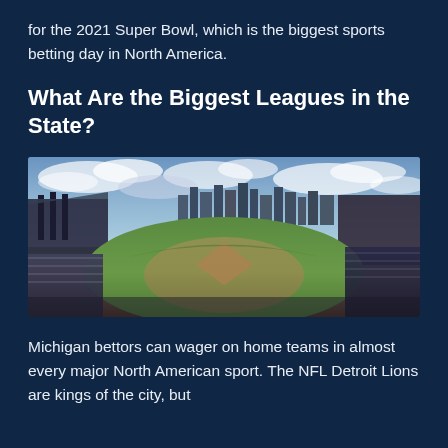for the 2021 Super Bowl, which is the biggest sports betting day in North America.
What Are the Biggest Leagues in the State?
[Figure (photo): Panoramic view of a baseball stadium (Comerica Park, Detroit) with city skyline in the background, cloudy dramatic sky, full stands of spectators]
Michigan bettors can wager on home teams in almost every major North American sport. The NFL Detroit Lions are kings of the city, but